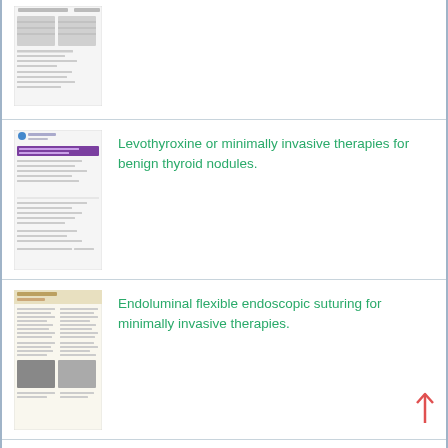[Figure (screenshot): Thumbnail of a medical document page with tables]
[Figure (screenshot): Thumbnail of a medical paper about Levothyroxine or minimally invasive therapies for benign thyroid nodules, with a purple header bar]
Levothyroxine or minimally invasive therapies for benign thyroid nodules.
[Figure (screenshot): Thumbnail of a small text document page]
[Figure (screenshot): Thumbnail of a medical paper about endoluminal flexible endoscopic suturing for minimally invasive therapies, with a beige/tan header]
Endoluminal flexible endoscopic suturing for minimally invasive therapies.
[Figure (screenshot): Thumbnail of a medical paper about a mixed analysis comparing nine minimally invasive surgeries for unresectable hepatocellular carcinoma patients, with a red header]
A mixed analysis comparing nine minimally invasive surgeries for unresectable hepatocellular carcinoma patients.